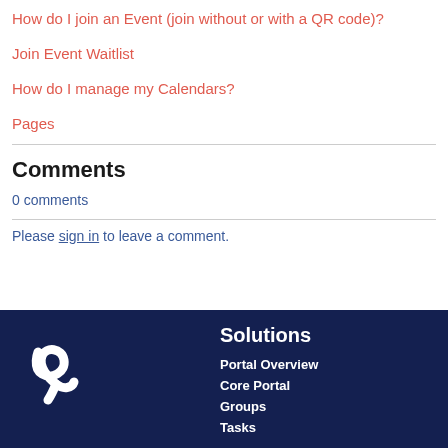How do I join an Event (join without or with a QR code)?
Join Event Waitlist
How do I manage my Calendars?
Pages
Comments
0 comments
Please sign in to leave a comment.
[Figure (logo): Yorkel/YO logo in white on dark navy background]
Solutions
Portal Overview
Core Portal
Groups
Tasks